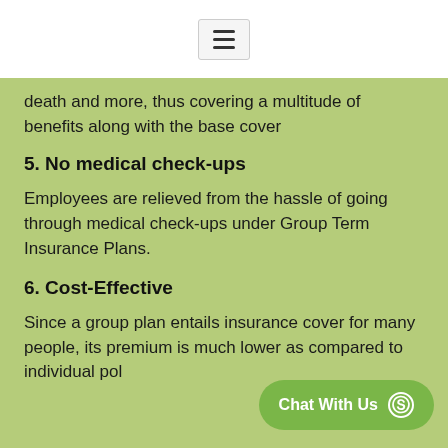[Figure (other): Hamburger menu icon in top white navigation bar]
death and more, thus covering a multitude of benefits along with the base cover
5. No medical check-ups
Employees are relieved from the hassle of going through medical check-ups under Group Term Insurance Plans.
6. Cost-Effective
Since a group plan entails insurance cover for many people, its premium is much lower as compared to individual pol
[Figure (other): Chat With Us button with WhatsApp icon]